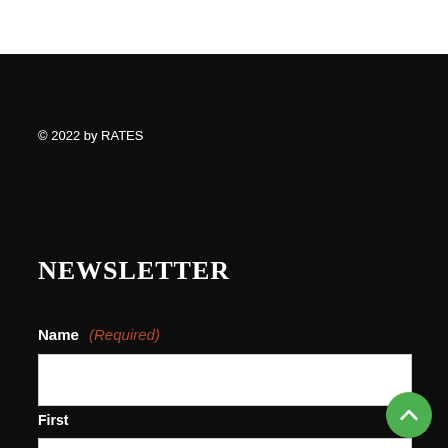© 2022 by RATES
NEWSLETTER
Name (Required)
First
Last